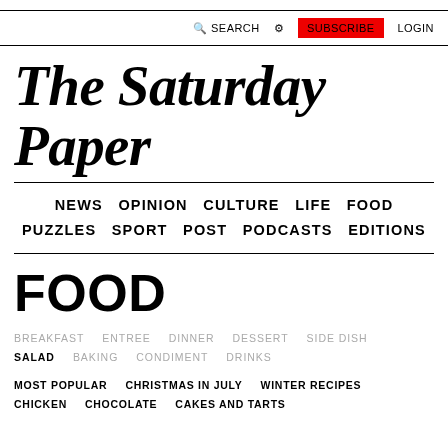SEARCH  ⚙  SUBSCRIBE  LOGIN
The Saturday Paper
NEWS  OPINION  CULTURE  LIFE  FOOD  PUZZLES  SPORT  POST  PODCASTS  EDITIONS
FOOD
BREAKFAST  ENTREE  DINNER  DESSERT  SIDE DISH  SALAD  BAKING  CONDIMENT  DRINKS
MOST POPULAR  CHRISTMAS IN JULY  WINTER RECIPES  CHICKEN  CHOCOLATE  CAKES AND TARTS